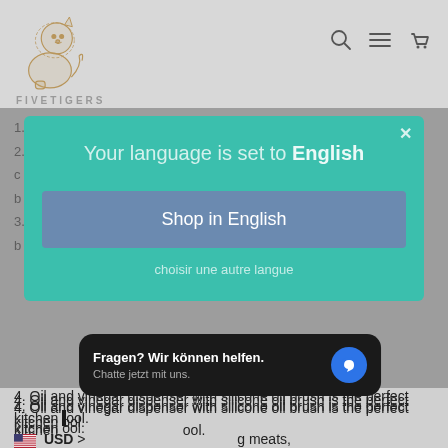[Figure (screenshot): E-commerce website screenshot with lion logo, navigation icons (search, menu, cart), language selection modal overlay, product description text, chat widget, and USD currency selector]
FIVETIGERS
Your language is set to English
Shop in English
choisir une autre langue
4. Oil and vinegar dispenser with silicone oil brush is the perfect kitchen tool.
pastries, sandwiches, marinade with oil, honey, sauces and so
Fragen? Wir können helfen. Chatte jetzt mit uns.
USD >